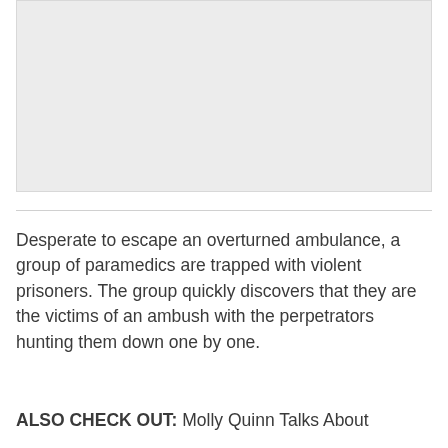[Figure (photo): Light gray rectangular image placeholder area at the top of the page]
Desperate to escape an overturned ambulance, a group of paramedics are trapped with violent prisoners. The group quickly discovers that they are the victims of an ambush with the perpetrators hunting them down one by one.
ALSO CHECK OUT: Molly Quinn Talks About